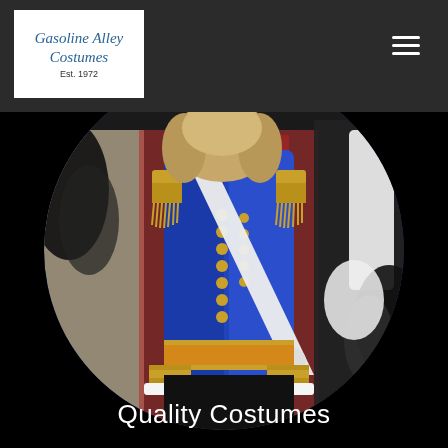Gasoline Alley Costumes Est. 1972
[Figure (photo): Circular cropped photo of a mannequin wearing a royal blue military-style costume jacket with gold epaulettes, gold trim on cuffs, a white sash across the chest, and a gold/orange waist sash. Background shows a costume shop with colorful costumes and feathered accessories. The mannequin has a blonde curly wig.]
Quality Costumes